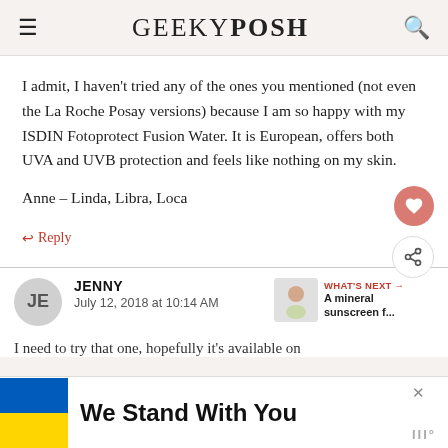GEEKY POSH
I admit, I haven't tried any of the ones you mentioned (not even the La Roche Posay versions) because I am so happy with my ISDIN Fotoprotect Fusion Water. It is European, offers both UVA and UVB protection and feels like nothing on my skin.
Anne – Linda, Libra, Loca
↩ Reply
JENNY
July 12, 2018 at 10:14 AM
WHAT'S NEXT → A mineral sunscreen f...
I need to try that one, hopefully it's available on
[Figure (other): Advertisement banner: Ukrainian flag colors (blue and yellow) with text 'We Stand With You']